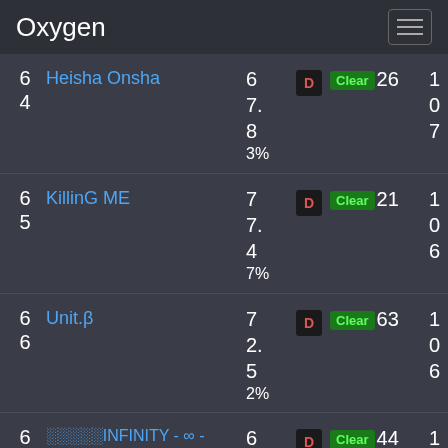Oxygen
64  Heisha Onsha  6 / 7.83%  D  Clear 26  107
65  KillinG ME  7 / 7.47%  D  Clear 21  106
66  Unit.β  7 / 72.52%  D  Clear 63  106
6  ░░░░░INFINITY - ∞ -  6  D  Clear 44  1